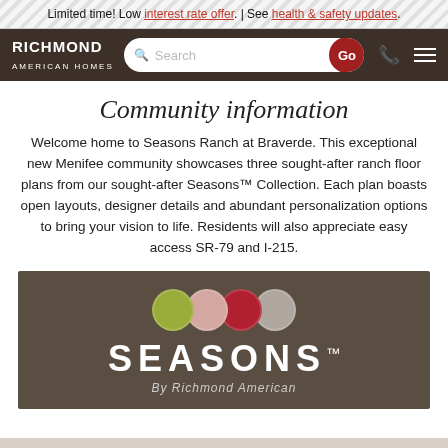Limited time! Low interest rate offer. | See health & safety updates.
[Figure (screenshot): Richmond American Homes navigation bar with logo, search box with Go button, phone icon, and menu icon]
Community information
Welcome home to Seasons Ranch at Braverde. This exceptional new Menifee community showcases three sought-after ranch floor plans from our sought-after Seasons™ Collection. Each plan boasts open layouts, designer details and abundant personalization options to bring your vision to life. Residents will also appreciate easy access SR-79 and I-215.
[Figure (logo): SEASONS™ by Richmond American logo on dark brown background with four overlapping colored circles (olive, mauve, red, gray)]